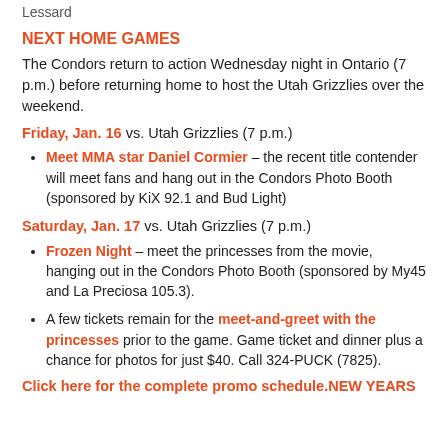Lessard
NEXT HOME GAMES
The Condors return to action Wednesday night in Ontario (7 p.m.) before returning home to host the Utah Grizzlies over the weekend.
Friday, Jan. 16 vs. Utah Grizzlies (7 p.m.)
Meet MMA star Daniel Cormier – the recent title contender will meet fans and hang out in the Condors Photo Booth (sponsored by KiX 92.1 and Bud Light)
Saturday, Jan. 17 vs. Utah Grizzlies (7 p.m.)
Frozen Night – meet the princesses from the movie, hanging out in the Condors Photo Booth (sponsored by My45 and La Preciosa 105.3).
A few tickets remain for the meet-and-greet with the princesses prior to the game. Game ticket and dinner plus a chance for photos for just $40. Call 324-PUCK (7825).
Click here for the complete promo schedule. NEW YEARS